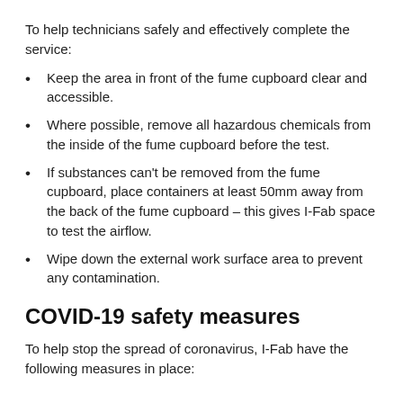To help technicians safely and effectively complete the service:
Keep the area in front of the fume cupboard clear and accessible.
Where possible, remove all hazardous chemicals from the inside of the fume cupboard before the test.
If substances can't be removed from the fume cupboard, place containers at least 50mm away from the back of the fume cupboard – this gives I-Fab space to test the airflow.
Wipe down the external work surface area to prevent any contamination.
COVID-19 safety measures
To help stop the spread of coronavirus, I-Fab have the following measures in place: